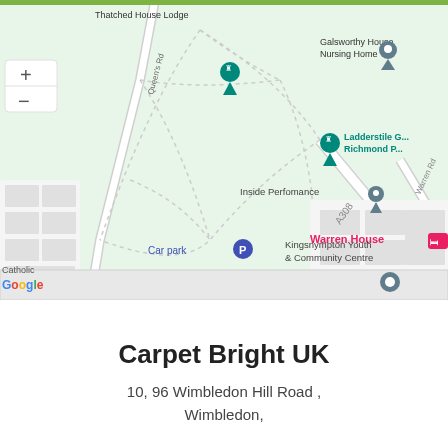[Figure (map): Google Maps screenshot showing area around Kingston/Richmond Park area in London, UK. Shows Thatched House Lodge, Galsworthy House Nursing Home, Ladderstile Gate Richmond Park, Inside Performance, Warren House, Kingsnympton Youth & Community Centre, Car park, A308 road, Warren Rd, Queen's Rd. Green park area dominates the map.]
Carpet Bright UK
10, 96 Wimbledon Hill Road , Wimbledon,